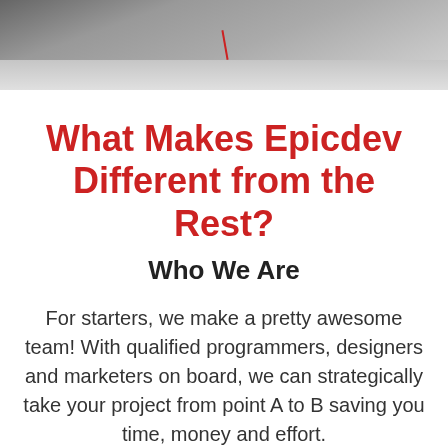[Figure (photo): Gray background photo banner showing ceiling/wall detail with a small red element, used as decorative header image]
What Makes Epicdev Different from the Rest?
Who We Are
For starters, we make a pretty awesome team! With qualified programmers, designers and marketers on board, we can strategically take your project from point A to B saving you time, money and effort.